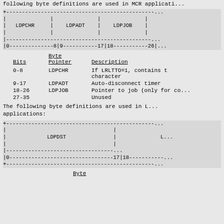following byte definitions are used in MCR applicati...
[Figure (schematic): Bit field diagram showing LDPCHR (bits 0-8), LDPADT (bits 9-17), LDPJOB (bits 18-26)]
| Bits | Byte Pointer | Description |
| --- | --- | --- |
| 0-8 | LDPCHR | If LRLTTO=1, contains the character |
| 9-17 | LDPADT | Auto-disconnect timer |
| 18-26 | LDPJOB | Pointer to job (only for co... |
| 27-35 |  | Unused |
The following byte definitions are used in L... applications:
[Figure (schematic): Bit field diagram showing LDPDST (bits 0-17) and L... (bits 18-...)]